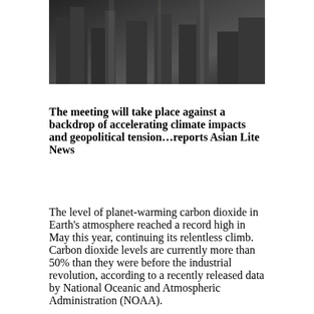[Figure (photo): Dark industrial or urban scene with buildings/structures in silhouette, suggesting pollution or industrial activity against a dark sky.]
The meeting will take place against a backdrop of accelerating climate impacts and geopolitical tension…reports Asian Lite News
The level of planet-warming carbon dioxide in Earth's atmosphere reached a record high in May this year, continuing its relentless climb. Carbon dioxide levels are currently more than 50% than they were before the industrial revolution, according to a recently released data by National Oceanic and Atmospheric Administration (NOAA).